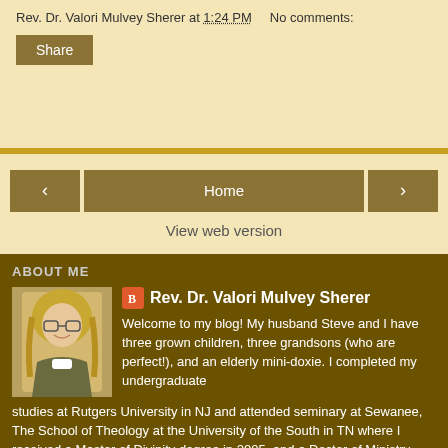Rev. Dr. Valori Mulvey Sherer at 1:24 PM    No comments:
Share
< Home > View web version
ABOUT ME
Rev. Dr. Valori Mulvey Sherer
Welcome to my blog! My husband Steve and I have three grown children, three grandsons (who are perfect!), and an elderly mini-doxie. I completed my undergraduate studies at Rutgers University in NJ and attended seminary at Sewanee, The School of Theology at the University of the South in TN where I received a Master of Divinity degree in 2005, and a Doctor of Ministry degree in 2010. You're welcome to visit my blog often and leave (polite, respectful) comments.Peace! Joy!
View my complete profile